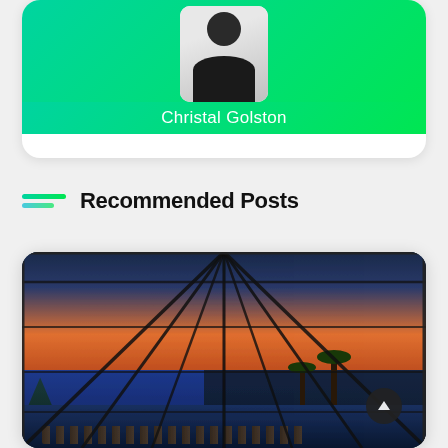[Figure (photo): Profile card for Christal Golston with green gradient banner and professional headshot photo]
Christal Golston
Recommended Posts
[Figure (photo): Outdoor pool area with screened enclosure, lake view, palm trees, lounge chairs at dusk/sunset]